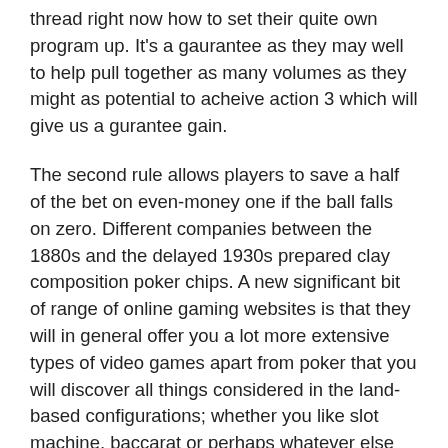thread right now how to set their quite own program up. It's a gaurantee as they may well to help pull together as many volumes as they might as potential to acheive action 3 which will give us a gurantee gain.
The second rule allows players to save a half of the bet on even-money one if the ball falls on zero. Different companies between the 1880s and the delayed 1930s prepared clay composition poker chips. A new significant bit of range of online gaming websites is that they will in general offer you a lot more extensive types of video games apart from poker that you will discover all things considered in the land-based configurations; whether you like slot machine, baccarat or perhaps whatever else with a good complete whole lot of procedures. It is another video game that the online gambling den match professional must end up included